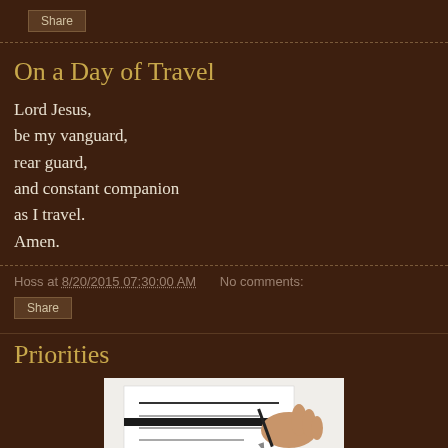Share
On a Day of Travel
Lord Jesus,
be my vanguard,
rear guard,
and constant companion
as I travel.
Amen.
Hoss at 8/20/2015 07:30:00 AM   No comments:
Share
Priorities
[Figure (photo): A person writing or signing a document with a pen, viewed from above, showing hands and paper on a white surface.]